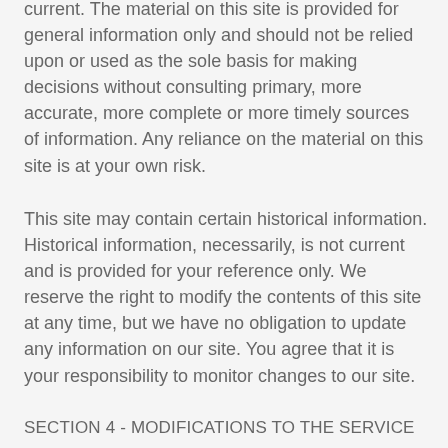current. The material on this site is provided for general information only and should not be relied upon or used as the sole basis for making decisions without consulting primary, more accurate, more complete or more timely sources of information. Any reliance on the material on this site is at your own risk.
This site may contain certain historical information. Historical information, necessarily, is not current and is provided for your reference only. We reserve the right to modify the contents of this site at any time, but we have no obligation to update any information on our site. You agree that it is your responsibility to monitor changes to our site.
SECTION 4 - MODIFICATIONS TO THE SERVICE